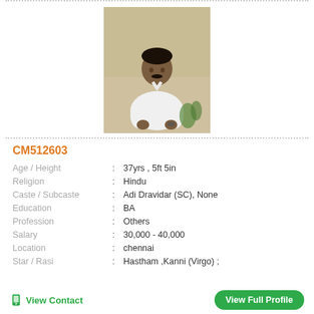[Figure (photo): Profile photo of a man wearing a white shirt, sitting outdoors against a wall with some vegetation]
CM512603
| Field | : | Value |
| --- | --- | --- |
| Age / Height | : | 37yrs , 5ft 5in |
| Religion | : | Hindu |
| Caste / Subcaste | : | Adi Dravidar (SC), None |
| Education | : | BA |
| Profession | : | Others |
| Salary | : | 30,000 - 40,000 |
| Location | : | chennai |
| Star / Rasi | : | Hastham ,Kanni (Virgo) ; |
View Contact
View Full Profile